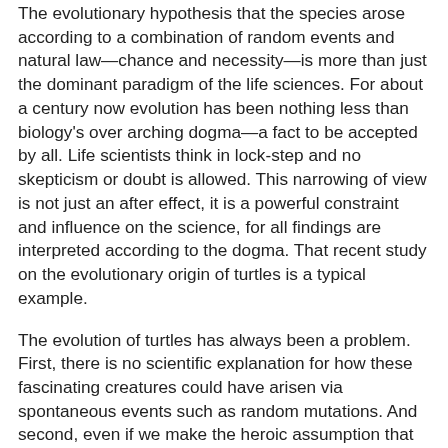The evolutionary hypothesis that the species arose according to a combination of random events and natural law—chance and necessity—is more than just the dominant paradigm of the life sciences. For about a century now evolution has been nothing less than biology's over arching dogma—a fact to be accepted by all. Life scientists think in lock-step and no skepticism or doubt is allowed. This narrowing of view is not just an after effect, it is a powerful constraint and influence on the science, for all findings are interpreted according to the dogma. That recent study on the evolutionary origin of turtles is a typical example.
The evolution of turtles has always been a problem. First, there is no scientific explanation for how these fascinating creatures could have arisen via spontaneous events such as random mutations. And second, even if we make the heroic assumption that such an unlikely event occurred, somehow, there remains their rather awkward fit in the supposed evolutionary tree. It's not an uncommon problem in evolutionary studies, and in the case of the turtle the paleontological, morphological and genetic data make for various contradictory results. As one writer explained: